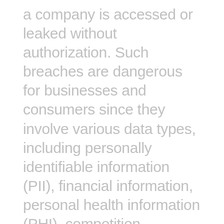a company is accessed or leaked without authorization. Such breaches are dangerous for businesses and consumers since they involve various data types, including personally identifiable information (PII), financial information, personal health information (PHI), competition information, legal information, intellectual property data, and more. When this information gets leaked or misused by malicious third parties, it can damage lives and reputations and leave individuals at risk of identity theft. Consumer and business PII and PHI are particularly vulnerable to data breaches. To protect this vital information from being accessed and misused, companies need to